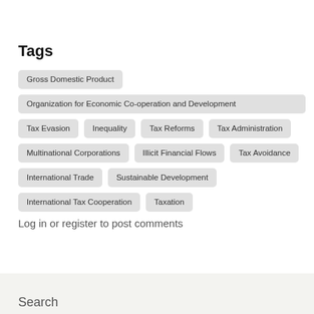Tags
Gross Domestic Product
Organization for Economic Co-operation and Development
Tax Evasion
Inequality
Tax Reforms
Tax Administration
Multinational Corporations
Illicit Financial Flows
Tax Avoidance
International Trade
Sustainable Development
International Tax Cooperation
Taxation
Log in or register to post comments
Search